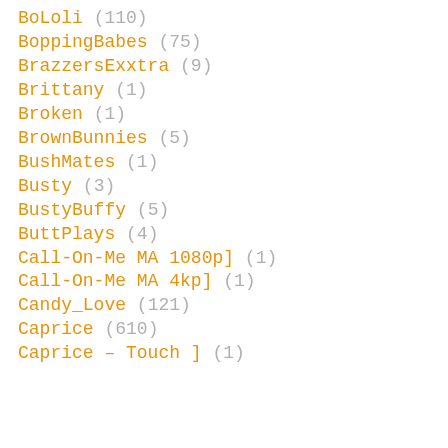BoLoli (110)
BoppingBabes (75)
BrazzersExxtra (9)
Brittany (1)
Broken (1)
BrownBunnies (5)
BushMates (1)
Busty (3)
BustyBuffy (5)
ButtPlays (4)
Call-On-Me MA 1080p] (1)
Call-On-Me MA 4kp] (1)
Candy_Love (121)
Caprice (610)
Caprice – Touch ] (1)